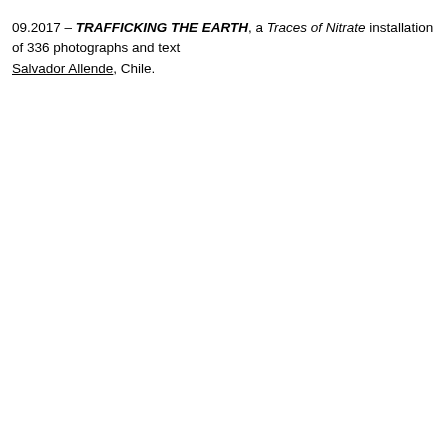09.2017 – TRAFFICKING THE EARTH, a Traces of Nitrate installation of 336 photographs and text Salvador Allende, Chile.